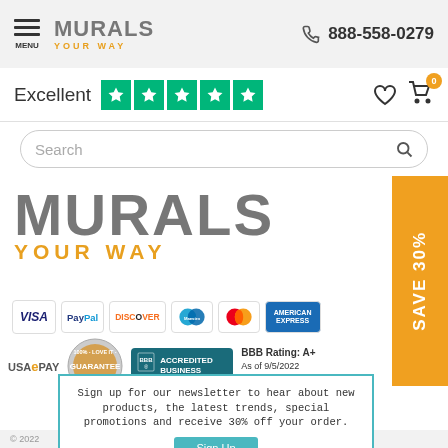MURALS YOUR WAY  888-558-0279
Excellent ★★★★★
Search
[Figure (logo): Murals Your Way large logo with payment method icons: VISA, PayPal, DISCOVER, Maestro, MasterCard, American Express]
[Figure (infographic): USAePay logo, 100% Love It Guarantee seal, BBB Accredited Business badge with BBB Rating: A+ As of 9/5/2022 Click for Profile]
SAVE 30%
Sign up for our newsletter to hear about new products, the latest trends, special promotions and receive 30% off your order.
Sign Up
No thanks
© 2022